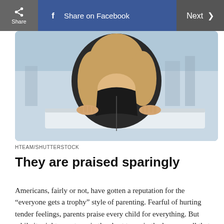Share | Share on Facebook | Next >
[Figure (photo): A person with long blonde hair, wearing a black jacket, leaning on a white surface outdoors. Shot from slightly above, face hidden by hair.]
HTEAM/SHUTTERSTOCK
They are praised sparingly
Americans, fairly or not, have gotten a reputation for the “everyone gets a trophy” style of parenting. Fearful of hurting tender feelings, parents praise every child for everything. But while it might save tears in the short term, in the long run all that praise becomes diluted and meaningless. Instead, Druckerman notes, “After children have learned to…